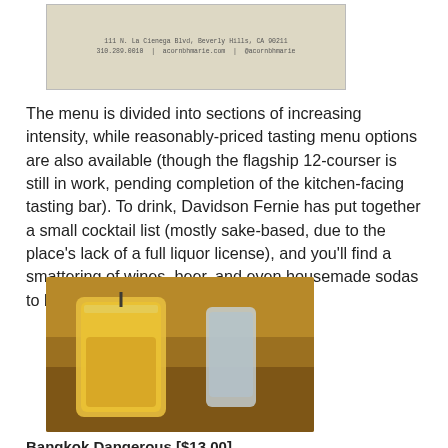[Figure (photo): Top image showing a menu or business card with address: 111 N. La Cienega Blvd, Beverly Hills, CA 90211, 310.289.0010, acornbhmarie.com, @acornbhmarie]
The menu is divided into sections of increasing intensity, while reasonably-priced tasting menu options are also available (though the flagship 12-courser is still in work, pending completion of the kitchen-facing tasting bar). To drink, Davidson Fernie has put together a small cocktail list (mostly sake-based, due to the place's lack of a full liquor license), and you'll find a smattering of wines, beer, and even housemade sodas to boot. Click for larger versions.
[Figure (photo): Photo of a tall glass of yellow-orange cocktail (Bangkok Dangerous) with ice and garnish on a wooden table, with a blue bottle in the background]
Bangkok Dangerous [$13.00]